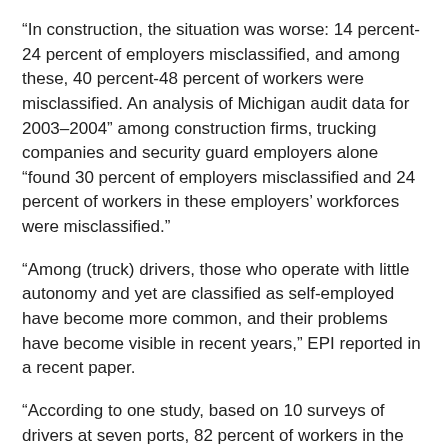“In construction, the situation was worse: 14 percent-24 percent of employers misclassified, and among these, 40 percent-48 percent of workers were misclassified. An analysis of Michigan audit data for 2003–2004” among construction firms, trucking companies and security guard employers alone “found 30 percent of employers misclassified and 24 percent of workers in these employers’ workforces were misclassified.”
“Among (truck) drivers, those who operate with little autonomy and yet are classified as self-employed have become more common, and their problems have become visible in recent years,” EPI reported in a recent paper.
“According to one study, based on 10 surveys of drivers at seven ports, 82 percent of workers in the part of the industry that hauls containers from ports to warehouses are misclassified as independent contractors.” That rises to 90 percent in the port of Los Angeles-Long Beach, the nation’s busiest, where the Teamsters have waged a years-long drive to get those misclassified drivers reclassified as “employees” organizable under labor law, and then to organize them.
“A study of truckers at the ports of New York and New Jersey